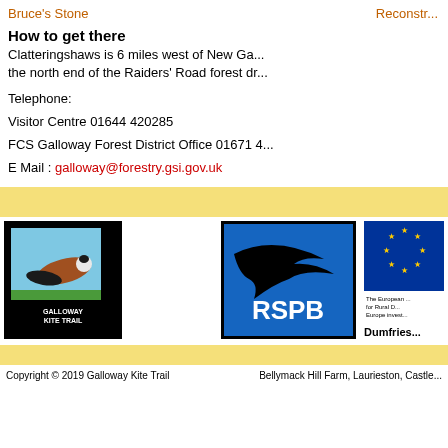Bruce's Stone    Reconstr...
How to get there
Clatteringshaws is 6 miles west of New Ga... the north end of the Raiders' Road forest dr...
Telephone:
Visitor Centre 01644 420285
FCS Galloway Forest District Office 01671 4...
E Mail : galloway@forestry.gsi.gov.uk
[Figure (logo): Galloway Kite Trail logo - black background with kite bird illustration and text GALLOWAY KITE TRAIL]
[Figure (logo): RSPB logo - blue background with bird silhouette and RSPB text]
[Figure (logo): European Agricultural Fund for Rural Development logo with EU stars and Dumfries text]
Copyright © 2019 Galloway Kite Trail    Bellymack Hill Farm, Laurieston, Castle...